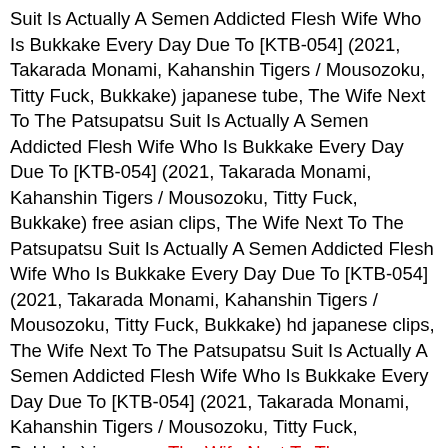Suit Is Actually A Semen Addicted Flesh Wife Who Is Bukkake Every Day Due To [KTB-054] (2021, Takarada Monami, Kahanshin Tigers / Mousozoku, Titty Fuck, Bukkake) japanese tube, The Wife Next To The Patsupatsu Suit Is Actually A Semen Addicted Flesh Wife Who Is Bukkake Every Day Due To [KTB-054] (2021, Takarada Monami, Kahanshin Tigers / Mousozoku, Titty Fuck, Bukkake) free asian clips, The Wife Next To The Patsupatsu Suit Is Actually A Semen Addicted Flesh Wife Who Is Bukkake Every Day Due To [KTB-054] (2021, Takarada Monami, Kahanshin Tigers / Mousozoku, Titty Fuck, Bukkake) hd japanese clips, The Wife Next To The Patsupatsu Suit Is Actually A Semen Addicted Flesh Wife Who Is Bukkake Every Day Due To [KTB-054] (2021, Takarada Monami, Kahanshin Tigers / Mousozoku, Titty Fuck, Bukkake) jav porn, The Wife Next To The Patsupatsu Suit Is Actually A Semen Addicted Flesh Wife Who Is Bukkake Every Day Due To [KTB-054] (2021, Takarada Monami, Kahanshin Tigers / Mousozoku, Titty Fuck, Bukkake) japanese hardcore, The Wife Next To The Patsupatsu Suit Is Actually A Semen Addicted Flesh Wife Who Is Bukkake Every Day Due To [KTB-054] (2021, Takarada Monami, Kahanshin Tigers / Mousozoku, Titty Fuck, Bukkake) asian hd video,The Wife Next To The Patsupatsu Suit Is Actually A Semen Addicted Flesh Wife Who Is Bukkake Every Day Due To [KTB-054] (2021, Takarada Monami, Kahanshin Tigers / Mousozoku, Titty